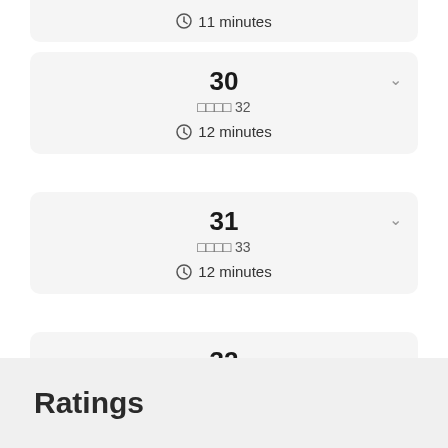⏱ 11 minutes
30
□□□□ 32
⏱ 12 minutes
31
□□□□ 33
⏱ 12 minutes
32
□□□□ 34
⏱ 4 minutes
Ratings